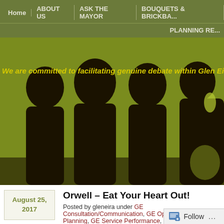Home | ABOUT US | ASK THE MAYOR | BOUQUETS & BRICKBATS | PLANNING RE...
[Figure (photo): Hero banner image showing silhouettes of people against a yellow-green background with italic yellow text: 'We are committed to facilitating genuine debate within Glen Eira. Your view...']
We are committed to facilitating genuine debate within Glen Eira. Your view...
Orwell – Eat Your Heart Out!
Posted by gleneira under GE Consultation/Communication, GE Open Planning, GE Service Performance, GE Transport
[4] Comments
We are well and truly into the era of Orwellian 'Newspeak' or to put it more bluntly, words that mean very little but sound mighty impressive to the uninitiated or brain... months and months of deliberation(s), the so called 'expert' advisory panel looking... space' along Skyrail has come up with their report. (UPLOADED HERE).
We find it amazing that any 'expert' panel can produce nothing more after months... than what we find here. Jargon is paramount (ie 'vibrant', 'sustainable', 'place ma... whilst no clear & precise recommendations are the outcome for the purported...